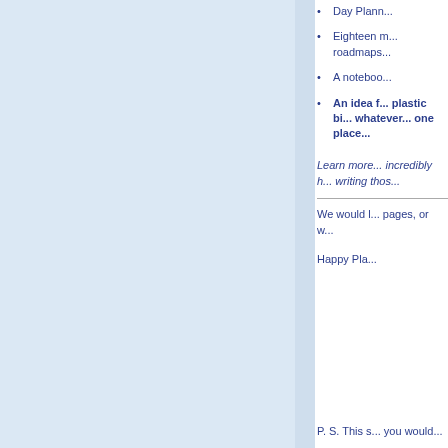Day Plann...
Eighteen m... roadmaps...
A noteboo...
An idea f... plastic bi... whatever... one place...
Learn more... incredibly h... writing thos...
We would l... pages, or w...
Happy Pla...
P. S. This s... you would...